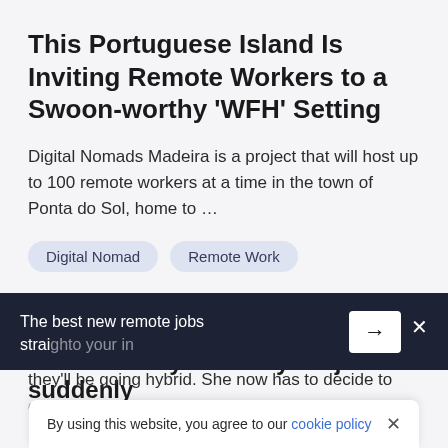This Portuguese Island Is Inviting Remote Workers to a Swoon-worthy 'WFH' Setting
Digital Nomads Madeira is a project that will host up to 100 remote workers at a time in the town of Ponta do Sol, home to …
Digital Nomad
Remote Work
REDDIT
What would you do if your job suddenly
The best new remote jobs straight to your inbox
By using this website, you agree to our cookie policy ×
they'll be going hybrid. She now has to decide to quickly find a new…